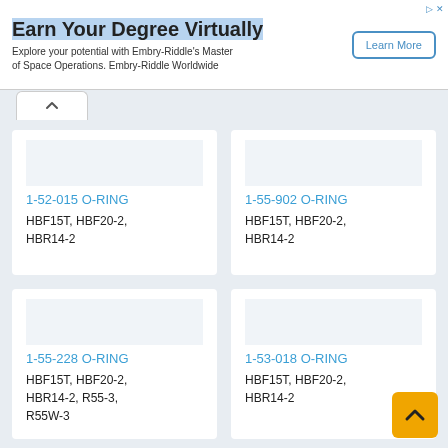[Figure (infographic): Advertisement banner: 'Earn Your Degree Virtually' with subtitle 'Explore your potential with Embry-Riddle's Master of Space Operations. Embry-Riddle Worldwide' and a 'Learn More' button]
1-52-015 O-RING
HBF15T, HBF20-2, HBR14-2
1-55-902 O-RING
HBF15T, HBF20-2, HBR14-2
1-55-228 O-RING
HBF15T, HBF20-2, HBR14-2, R55-3, R55W-3
1-53-018 O-RING
HBF15T, HBF20-2, HBR14-2